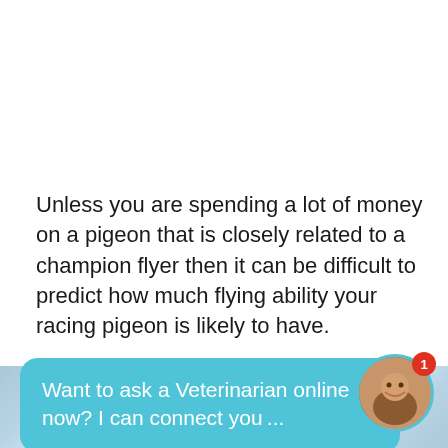Unless you are spending a lot of money on a pigeon that is closely related to a champion flyer then it can be difficult to predict how much flying ability your racing pigeon is likely to have.
The best way to get a pigeon with decent racing
[Figure (screenshot): Chat bubble overlay with teal/blue background reading: 'Want to ask a Veterinarian online now? I can connect you ...' with a circular avatar photo of a smiling woman and a red notification badge showing '1']
Below are 6 lofts where you can find good qualit
[Figure (screenshot): Alaska travel advertisement banner at the bottom showing 'DISCOVER AMAZING TRAVEL SIDESTAGE.COM' with Alaska glacier imagery on both sides]